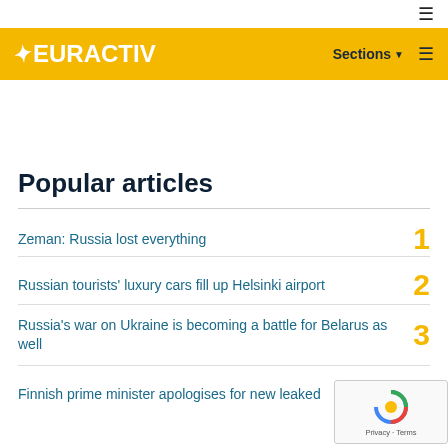EURACTIV — Sections
Popular articles
Zeman: Russia lost everything — 1
Russian tourists' luxury cars fill up Helsinki airport — 2
Russia's war on Ukraine is becoming a battle for Belarus as well — 3
Finnish prime minister apologises for new leaked — 4